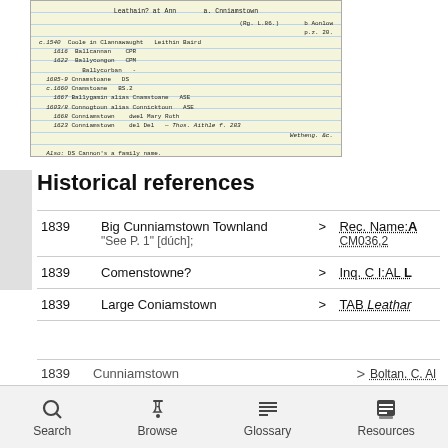[Figure (photo): Handwritten historical note card with entries listing years (1540, 1616, 1622, 1685-9, c.1660, 1667, 1603/8, 1668, 1623) and place names including Coole in Clannawaught, Leithin Baird, Ballycannan, Ballycongon, Ballycorban, Cnnamstown, Cnamstown, Ballygamin alias Cnamstown, Connogtoun alias Connicktoun, Conniamstown and Mary Roth, Conniamstown del Del, and a note about Cannon's a family name.]
Historical references
| Year | Name |  | Reference |
| --- | --- | --- | --- |
| 1839 | Big Cunniamstown Townland
"See P. 1" [dúch]; | > | Rec. Name:A
CM036,2 |
| 1839 | Comenstowne? | > | Inq. C I:AL L |
| 1839 | Large Coniamstown | > | TAB Leathar |
| 1839 | Cunniamstown | > | Boltan. C. Al |
Search   Browse   Glossary   Resources